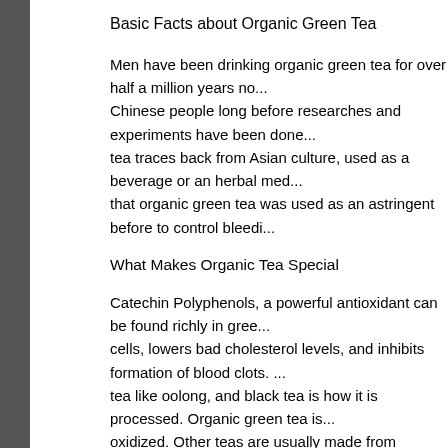Basic Facts about Organic Green Tea
Men have been drinking organic green tea for over half a million years no... Chinese people long before researches and experiments have been done... tea traces back from Asian culture, used as a beverage or an herbal med... that organic green tea was used as an astringent before to control bleedi...
What Makes Organic Tea Special
Catechin Polyphenols, a powerful antioxidant can be found richly in gree... cells, lowers bad cholesterol levels, and inhibits formation of blood clots. ... tea like oolong, and black tea is how it is processed. Organic green tea is... oxidized. Other teas are usually made from fermented leaves which make... effective as when it is only steamed.
Health Benefits of Green Tea
The popularity of green tea grew with the interest in fitness and healthy li... called Polyphenols which acts as antioxidants to the body. Great benefits... come from drinking organic green tea. Aside from that, here are a few mo... person:
⊞ Prevents flu ⊞ Green tea can boost immunity against influenza
⊞ Lowers Blood pressure ⊞ Blood pressure can be lowered by 50% by dri...
⊞ Cleanses the Digestive System ⊞ Tannins in tea cleanses the digestive t...
⊞ Aids in Weight Loss ⊞ Organic green tea is rich in antioxidants knowi...